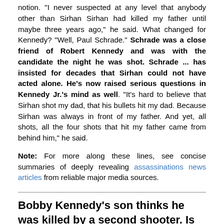notion. "I never suspected at any level that anybody other than Sirhan Sirhan had killed my father until maybe three years ago," he said. What changed for Kennedy? "Well, Paul Schrade." Schrade was a close friend of Robert Kennedy and was with the candidate the night he was shot. Schrade ... has insisted for decades that Sirhan could not have acted alone. He's now raised serious questions in Kennedy Jr.'s mind as well. "It's hard to believe that Sirhan shot my dad, that his bullets hit my dad. Because Sirhan was always in front of my father. And yet, all shots, all the four shots that hit my father came from behind him," he said.
Note: For more along these lines, see concise summaries of deeply revealing assassinations news articles from reliable major media sources.
Bobby Kennedy's son thinks he was killed by a second shooter. Is there anything to it?
May 31, 2018, Boston.com
https://www.boston.com/news/history/2018/05/31/rfk-